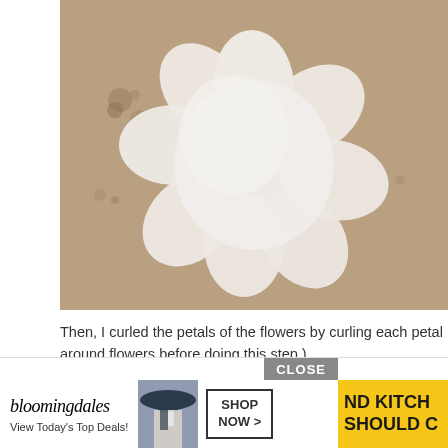[Figure (photo): A white flower-shaped paper cutout with petals, lying flat on a brown/tan concrete or cardboard surface. The petals are arranged in a circular pattern with the paper folded to create petal shapes.]
Then, I curled the petals of the flowers by curling each petal around flowers before doing this step.)
[Figure (screenshot): Advertisement banner: Bloomingdale's ad with logo, 'View Today's Top Deals!' text, a model wearing a hat, SHOP NOW button, and yellow banner with text 'ND KITCH SHOULD C'. Close button overlay.]